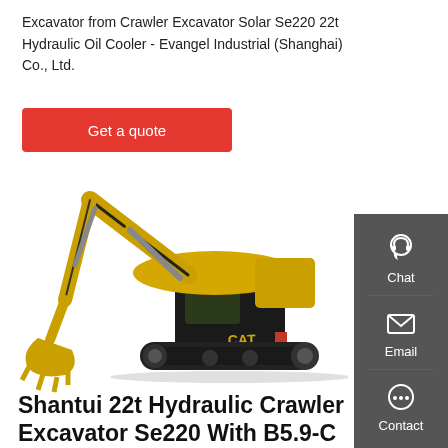Excavator from Crawler Excavator Solar Se220 22t Hydraulic Oil Cooler - Evangel Industrial (Shanghai) Co., Ltd.
Get a quote
[Figure (photo): Yellow and black CAT 313D2L hydraulic crawler excavator on a white background, shown in side profile with boom arm extended]
[Figure (infographic): Dark grey sidebar with Chat, Email, and Contact icon buttons]
Shantui 22t Hydraulic Crawler Excavator Se220 With B5.9-C